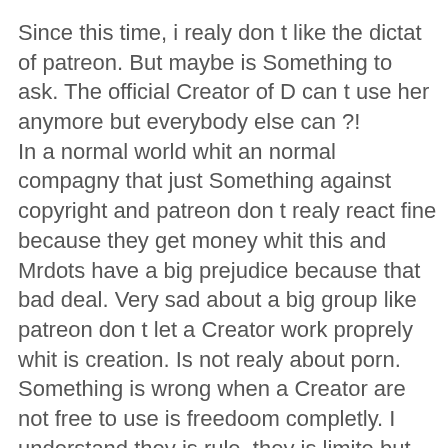Since this time, i realy don t like the dictat of patreon. But maybe is Something to ask. The official Creator of D can t use her anymore but everybody else can ?!
In a normal world whit an normal compagny that just Something against copyright and patreon don t realy react fine because they get money whit this and Mrdots have a big prejudice because that bad deal. Very sad about a big group like patreon don t let a Creator work proprely whit is creation. Is not realy about porn. Something is wrong when a Creator are not free to use is freedoom completly. I understand they is rule, they is limite but incest in a story and incest in reality is completly different. I m the first if i see a father have a sexual interaction whit is daugher IRL to feel realy bad about this crazy situation and to understand they is a big problem and someone